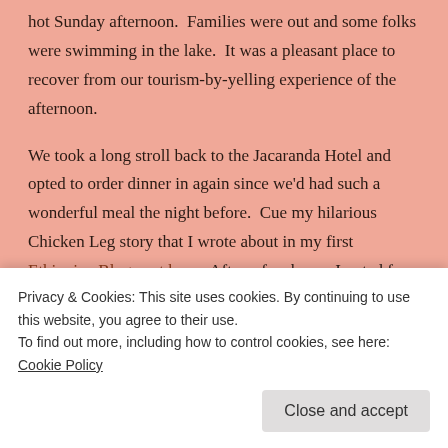hot Sunday afternoon.  Families were out and some folks were swimming in the lake.  It was a pleasant place to recover from our tourism-by-yelling experience of the afternoon.
We took a long stroll back to the Jacaranda Hotel and opted to order dinner in again since we'd had such a wonderful meal the night before.  Cue my hilarious Chicken Leg story that I wrote about in my first Ethiopian Blog post here.  After a few beers, I opted for an early night of writing and reading.
[Figure (photo): Partial view of a photo strip at the bottom of the page, partially obscured by a cookie consent banner]
Privacy & Cookies: This site uses cookies. By continuing to use this website, you agree to their use.
To find out more, including how to control cookies, see here: Cookie Policy
Close and accept